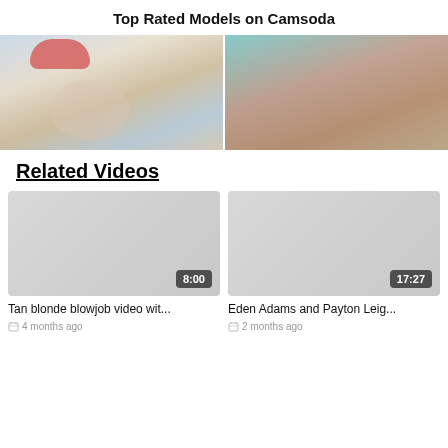Top Rated Models on Camsoda
[Figure (photo): Two side-by-side webcam/video thumbnails of models]
Related Videos
[Figure (photo): Video thumbnail placeholder, duration 8:00]
Tan blonde blowjob video wit...
4 months ago
[Figure (photo): Video thumbnail placeholder, duration 17:27]
Eden Adams and Payton Leig...
2 months ago